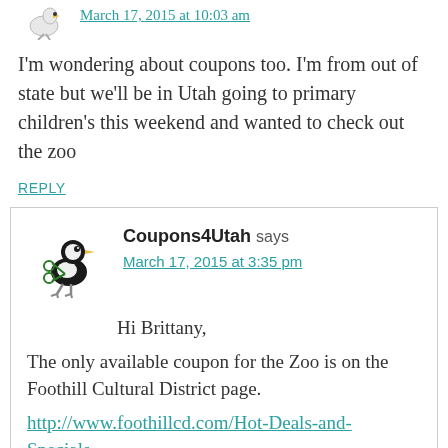[Figure (illustration): Small bird avatar icon (stork/crane type bird) at top left]
March 17, 2015 at 10:03 am
I'm wondering about coupons too. I'm from out of state but we'll be in Utah going to primary children's this weekend and wanted to check out the zoo
REPLY
[Figure (illustration): Coupons4Utah logo: cartoon bird with scissors]
Coupons4Utah says
March 17, 2015 at 3:35 pm
Hi Brittany,
The only available coupon for the Zoo is on the Foothill Cultural District page.
http://www.foothillcd.com/Hot-Deals-and-Specials